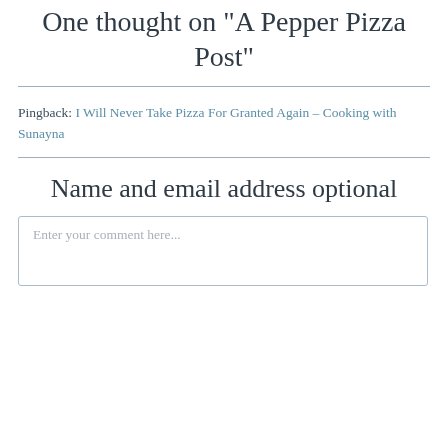One thought on “A Pepper Pizza Post”
Pingback: I Will Never Take Pizza For Granted Again – Cooking with Sunayna
Name and email address optional
Enter your comment here...